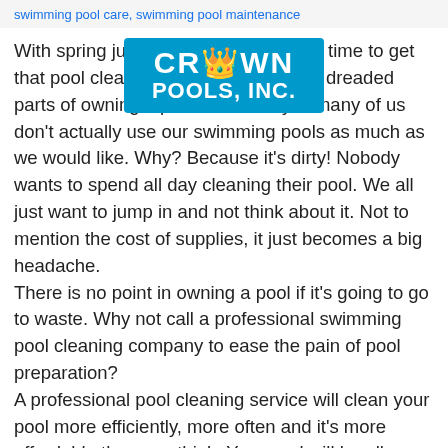swimming pool care, swimming pool maintenance
[Figure (logo): Crown Pools, Inc. logo — blue rectangle with crown icon, white text reading CROWN POOLS, INC.]
With spring just around the corner, it's time to get that pool cleaned. It's one of the most dreaded parts of owning a pool. The reality is many of us don't actually use our swimming pools as much as we would like. Why? Because it's dirty! Nobody wants to spend all day cleaning their pool. We all just want to jump in and not think about it. Not to mention the cost of supplies, it just becomes a big headache.
There is no point in owning a pool if it's going to go to waste. Why not call a professional swimming pool cleaning company to ease the pain of pool preparation?
A professional pool cleaning service will clean your pool more efficiently, more often and it's more affordable than you think. Your pool will be all ready to go for the summer and you won't have to worry about spending hours cleaning it.